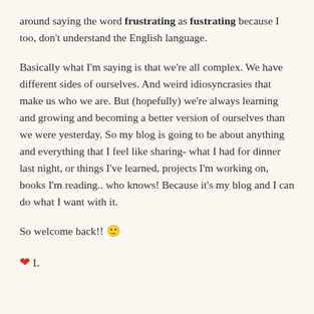around saying the word frustrating as fustrating because I too, don't understand the English language.
Basically what I'm saying is that we're all complex. We have different sides of ourselves. And weird idiosyncrasies that make us who we are. But (hopefully) we're always learning and growing and becoming a better version of ourselves than we were yesterday. So my blog is going to be about anything and everything that I feel like sharing- what I had for dinner last night, or things I've learned, projects I'm working on, books I'm reading.. who knows! Because it's my blog and I can do what I want with it.
So welcome back!! 🙂
❤ L